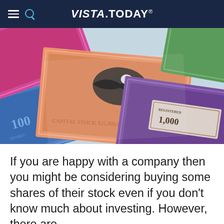VISTA.TODAY
[Figure (photo): A collection of colorful stock certificates overlapping each other, featuring a large eagle illustration on a central certificate labeled 'CAPITAL STOCK $25,000,000', with blue, pink, orange, purple, and green certificates visible, and one showing '1,000' in ornate engraving style.]
If you are happy with a company then you might be considering buying some shares of their stock even if you don't know much about investing. However, there are different types of stock and the kind you buy can have very different outcomes on